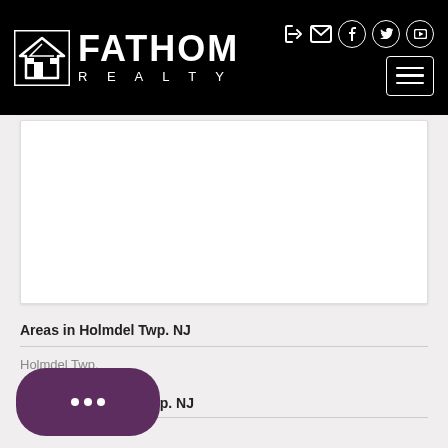[Figure (logo): Fathom Realty logo with house icon on black header background, social media icons and hamburger menu on right side]
[Figure (other): White content card area (appears to contain a map or photo, mostly blank white)]
Areas in Holmdel Twp. NJ
Holmdel Twp.
Neighborhoods in Holmdel Twp. NJ